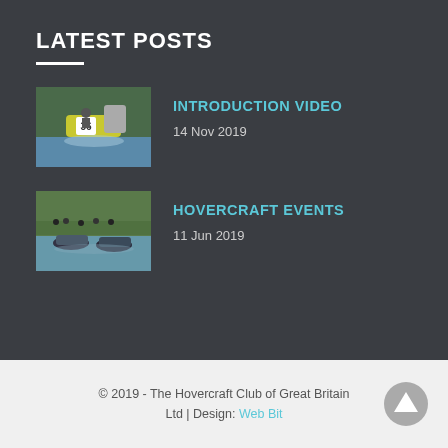LATEST POSTS
[Figure (photo): Hovercraft racing on water, number 36 visible]
INTRODUCTION VIDEO
14 Nov 2019
[Figure (photo): Multiple hovercrafts on water with spectators]
HOVERCRAFT EVENTS
11 Jun 2019
© 2019 - The Hovercraft Club of Great Britain Ltd | Design: Web Bit